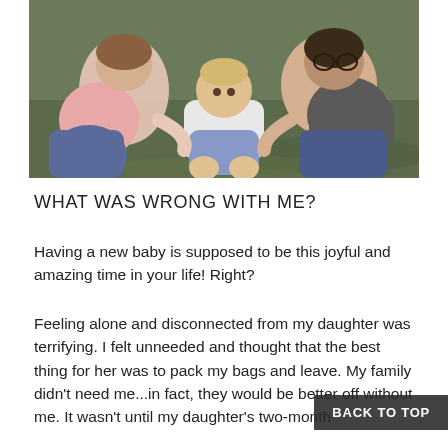[Figure (photo): Overhead photo of a family with two adults and a toddler sitting on grass, the baby in the center wearing a white top and blue bottoms, parents leaning in from either side.]
WHAT WAS WRONG WITH ME?
Having a new baby is supposed to be this joyful and amazing time in your life! Right?
Feeling alone and disconnected from my daughter was terrifying. I felt unneeded and thought that the best thing for her was to pack my bags and leave. My family didn't need me...in fact, they would be better off without me. It wasn't until my daughter's two-month